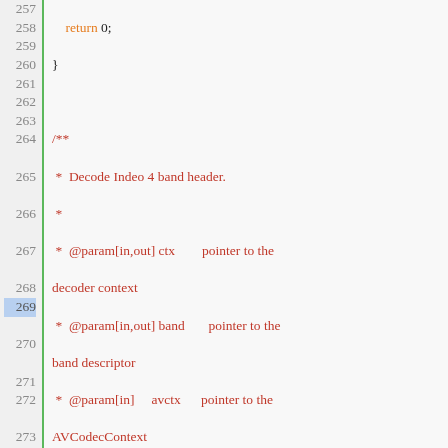Source code listing, lines 257-282, showing decode_band_hdr function and its documentation comment in C source file (FFmpeg Indeo 4 decoder).